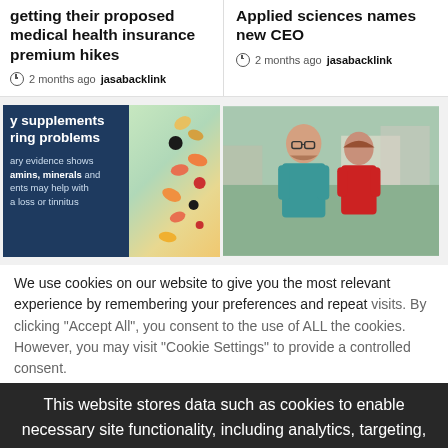getting their proposed medical health insurance premium hikes
2 months ago jasabacklink
Applied sciences names new CEO
2 months ago jasabacklink
[Figure (photo): Dietary supplements image with blue overlay panel showing text about vitamins and minerals]
[Figure (photo): Two people standing at an outdoor event, man in teal shirt and woman in red shirt]
We use cookies on our website to give you the most relevant experience by remembering your preferences and repeat visits. By clicking "Accept All", you consent to the use of ALL the cookies. However, you may visit "Cookie Settings" to provide a controlled consent.
This website stores data such as cookies to enable necessary site functionality, including analytics, targeting, and personalization. By remaining on this website you indicate your consent Cookie Policy